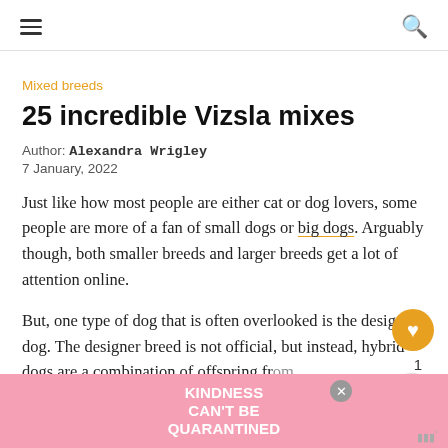navigation header with hamburger menu and search icon
Mixed breeds
25 incredible Vizsla mixes
Author: Alexandra Wrigley
7 January, 2022
Just like how most people are either cat or dog lovers, some people are more of a fan of small dogs or big dogs. Arguably though, both smaller breeds and larger breeds get a lot of attention online.
But, one type of dog that is often overlooked is the designer dog. The designer breed is not official, but instead, hybrid dogs are a combination of offspring from
[Figure (infographic): Advertisement banner: pink background, white bold text reading KINDNESS CAN'T BE QUARANTINED, with a close button (X)]